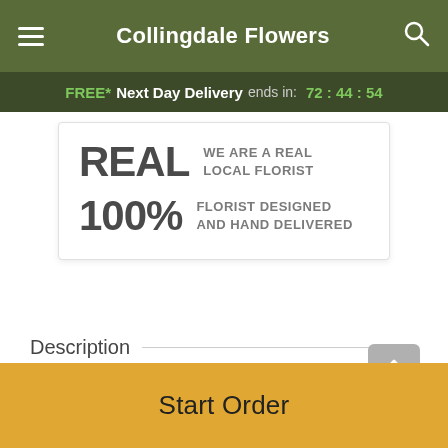Collingdale Flowers
FREE* Next Day Delivery ends in: 72:44:54
REAL WE ARE A REAL LOCAL FLORIST
100% FLORIST DESIGNED AND HAND DELIVERED
Description
Strike a pose! This chic bouquet has us completely smitten. The perfect way to celebrate passion, romance,